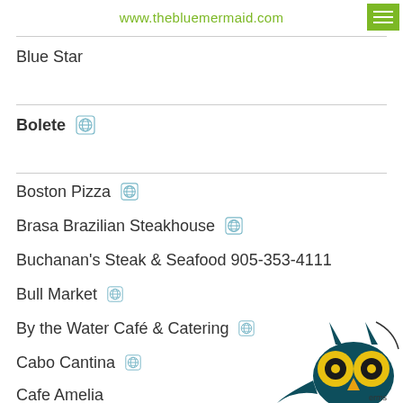www.thebluemermaid.com
Blue Star
Bolete [globe icon]
Boston Pizza [globe icon]
Brasa Brazilian Steakhouse [globe icon]
Buchanan's Steak & Seafood 905-353-4111
Bull Market [globe icon]
By the Water Café & Catering [globe icon]
Cabo Cantina [globe icon]
Cafe Amelia